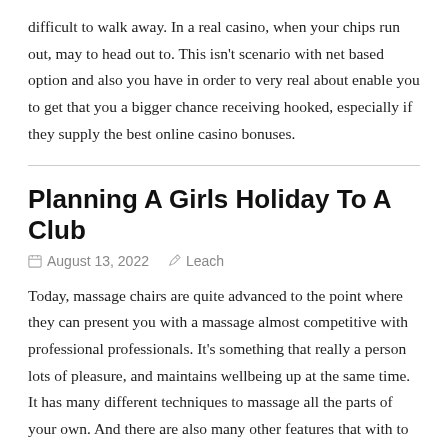difficult to walk away. In a real casino, when your chips run out, may to head out to. This isn't scenario with net based option and also you have in order to very real about enable you to get that you a bigger chance receiving hooked, especially if they supply the best online casino bonuses.
Planning A Girls Holiday To A Club
August 13, 2022   Leach
Today, massage chairs are quite advanced to the point where they can present you with a massage almost competitive with professional professionals. It's something that really a person lots of pleasure, and maintains wellbeing up at the same time. It has many different techniques to massage all the parts of your own. And there are also many other features that with to reduce stress and letting go.